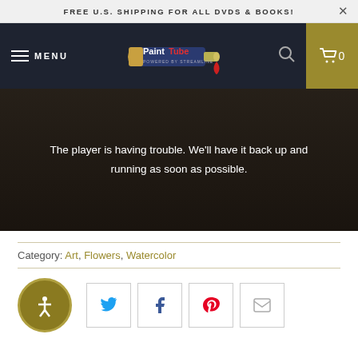FREE U.S. SHIPPING FOR ALL DVDS & BOOKS!
[Figure (logo): PaintTube logo with paint tube graphic, powered by Streamline]
The player is having trouble. We'll have it back up and running as soon as possible.
Category: Art, Flowers, Watercolor
[Figure (infographic): Accessibility button and social share buttons: Twitter, Facebook, Pinterest, Email]